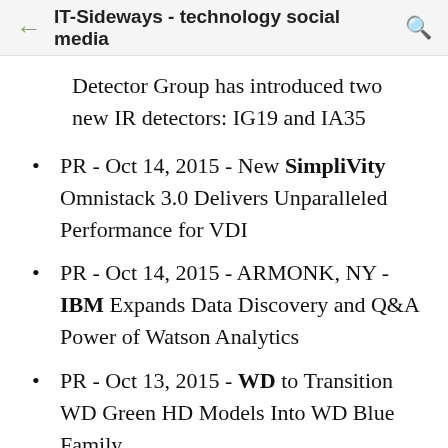IT-Sideways - technology social media
Detector Group has introduced two new IR detectors: IG19 and IA35
PR - Oct 14, 2015 - New SimpliVity Omnistack 3.0 Delivers Unparalleled Performance for VDI
PR - Oct 14, 2015 - ARMONK, NY - IBM Expands Data Discovery and Q&A Power of Watson Analytics
PR - Oct 13, 2015 - WD to Transition WD Green HD Models Into WD Blue Family
PR - Oct 13, 2015 - Boosts Up Singaporean Spending With Malaysian Local Merchants